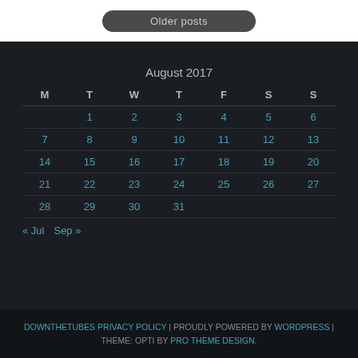Older posts
| M | T | W | T | F | S | S |
| --- | --- | --- | --- | --- | --- | --- |
|  | 1 | 2 | 3 | 4 | 5 | 6 |
| 7 | 8 | 9 | 10 | 11 | 12 | 13 |
| 14 | 15 | 16 | 17 | 18 | 19 | 20 |
| 21 | 22 | 23 | 24 | 25 | 26 | 27 |
| 28 | 29 | 30 | 31 |  |  |  |
« Jul   Sep »
DOWNTHETUBES PRIVACY POLICY | PROUDLY POWERED BY WORDPRESS | THEME: OPTI BY PRO THEME DESIGN.